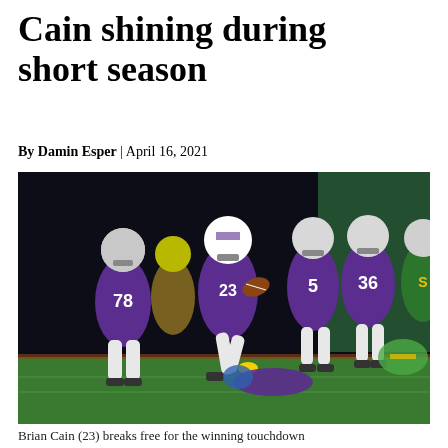Cain shining during short season
By Damin Esper | April 16, 2021
[Figure (photo): Football players in purple uniforms on a night game field. A player wearing number 23 breaks free carrying the ball, with players numbered 78, 5, and 36 visible. Opposing team in green and yellow uniforms.]
Brian Cain (23) breaks free for the winning touchdown